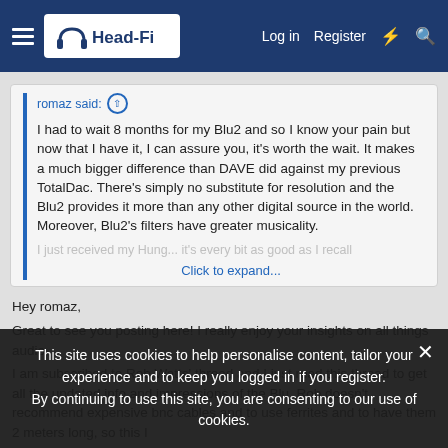Head-Fi — Log in  Register
romaz said: ↑
I had to wait 8 months for my Blu2 and so I know your pain but now that I have it, I can assure you, it's worth the wait. It makes a much bigger difference than DAVE did against my previous TotalDac. There's simply no substitute for resolution and the Blu2 provides it more than any other digital source in the world. Moreover, Blu2's filters have greater musicality.
I just received my Hung... it's every bit as good as I recall
Click to expand...
Hey romaz,
Great to see you posting here! I really enjoy your insights on all things audio.
I am subscribed to Rob Watts' thread and I just read this thread to get all the updated info and impressions of the Blu. Rob doesn't recommend expensive bnc cables and to use ferrites and to have them 2 meters long, so this I
This site uses cookies to help personalise content, tailor your experience and to keep you logged in if you register. By continuing to use this site, you are consenting to our use of cookies.